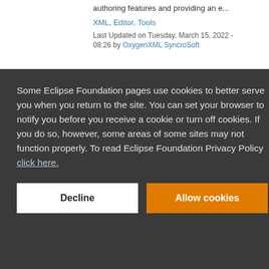authoring features and providing an e...
XML, Editor, Tools
Last Updated on Tuesday, March 15, 2022 - 08:26 by OxygenXML SyncroSoft
Some Eclipse Foundation pages use cookies to better serve you when you return to the site. You can set your browser to notify you before you receive a cookie or turn off cookies. If you do so, however, some areas of some sites may not function properly. To read Eclipse Foundation Privacy Policy click here.